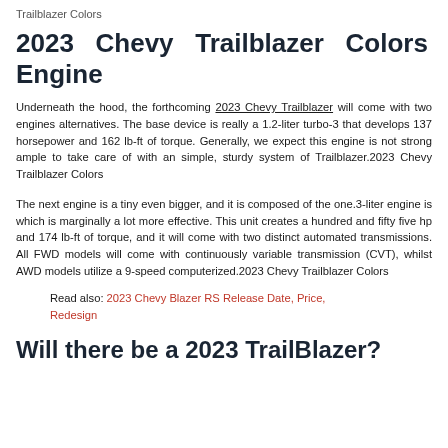Trailblazer Colors
2023 Chevy Trailblazer Colors Engine
Underneath the hood, the forthcoming 2023 Chevy Trailblazer will come with two engines alternatives. The base device is really a 1.2-liter turbo-3 that develops 137 horsepower and 162 lb-ft of torque. Generally, we expect this engine is not strong ample to take care of with an simple, sturdy system of Trailblazer.2023 Chevy Trailblazer Colors
The next engine is a tiny even bigger, and it is composed of the one.3-liter engine is which is marginally a lot more effective. This unit creates a hundred and fifty five hp and 174 lb-ft of torque, and it will come with two distinct automated transmissions. All FWD models will come with continuously variable transmission (CVT), whilst AWD models utilize a 9-speed computerized.2023 Chevy Trailblazer Colors
Read also: 2023 Chevy Blazer RS Release Date, Price, Redesign
Will there be a 2023 TrailBlazer?